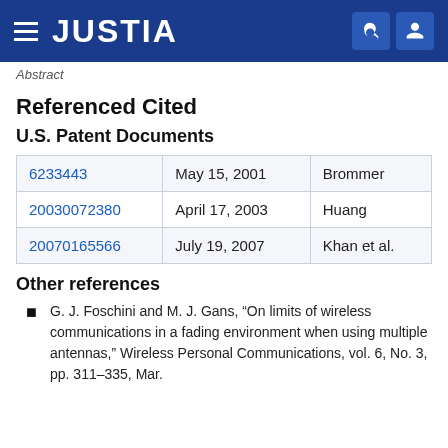JUSTIA
Referenced Cited
U.S. Patent Documents
| Patent Number | Date | Inventor |
| --- | --- | --- |
| 6233443 | May 15, 2001 | Brommer |
| 20030072380 | April 17, 2003 | Huang |
| 20070165566 | July 19, 2007 | Khan et al. |
Other references
G. J. Foschini and M. J. Gans, “On limits of wireless communications in a fading environment when using multiple antennas,” Wireless Personal Communications, vol. 6, No. 3, pp. 311–335, Mar.